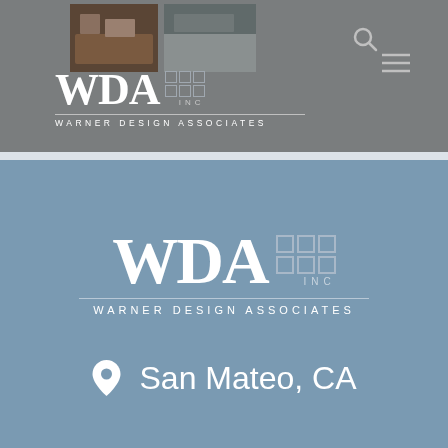[Figure (logo): WDA INC Warner Design Associates logo in white on grey header bar with nav icons]
[Figure (logo): WDA INC Warner Design Associates logo in white centered on blue-grey background]
San Mateo, CA